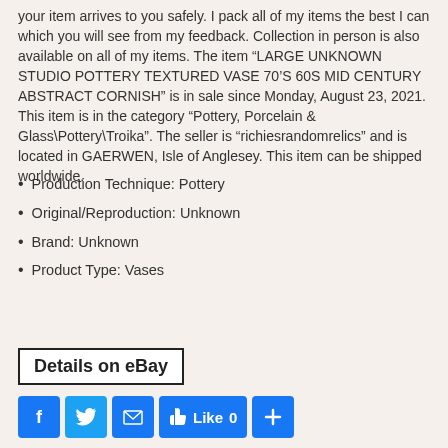your item arrives to you safely. I pack all of my items the best I can which you will see from my feedback. Collection in person is also available on all of my items. The item “LARGE UNKNOWN STUDIO POTTERY TEXTURED VASE 70’S 60S MID CENTURY ABSTRACT CORNISH” is in sale since Monday, August 23, 2021. This item is in the category “Pottery, Porcelain & Glass\Pottery\Troika”. The seller is “richiesrandomrelics” and is located in GAERWEN, Isle of Anglesey. This item can be shipped worldwide.
Production Technique: Pottery
Original/Reproduction: Unknown
Brand: Unknown
Product Type: Vases
[Figure (other): Details on eBay button with black border]
[Figure (other): Social sharing buttons: Facebook, Twitter, Email, Like 0, Plus]
70's, abstract, century, cornish, large, pottery, studio, textured, unknown, vase
Vintage Studio Stephan Roy Raku Pottery Vase Extra Large
Door Pottery 2010 Dawns Duet Northern Lights Blue Glaze Bird Handled Vase